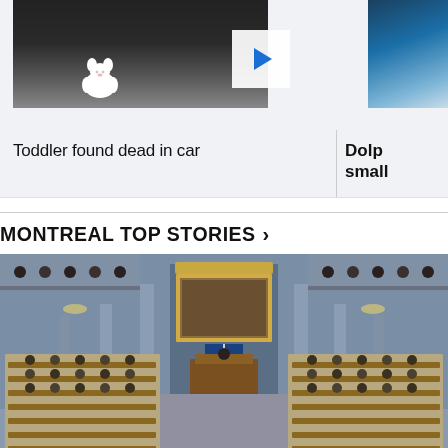[Figure (photo): Photo of a stuffed white animal toy on dark ground, partially cut off on left side of screen. A play button overlay box is visible at right.]
[Figure (photo): Partial photo of dolphins or ocean scene, cropped at right edge.]
Toddler found dead in car
Dolp small
MONTREAL TOP STORIES >
[Figure (photo): Wide-angle interior photo of the Quebec National Assembly chamber in session, with legislators seated at ornate wooden desks, blue walls, large gold-framed painting above the Speaker's chair, and a Quebec flag visible at center.]